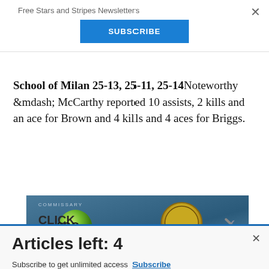Free Stars and Stripes Newsletters
SUBSCRIBE
School of Milan 25-13, 25-11, 25-14 Noteworthy &mdash; McCarthy reported 10 assists, 2 kills and an ace for Brown and 4 kills and 4 aces for Briggs.
[Figure (other): Commissary Click2Go advertisement banner showing a green ball logo and commissary badge, with text 'order groceries | PICKUP']
Articles left: 4
Subscribe to get unlimited access Subscribe Already have an account? Login here